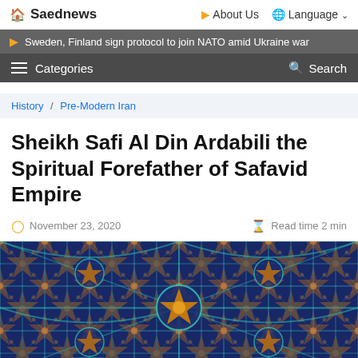Saednews | About Us | Language
Sweden, Finland sign protocol to join NATO amid Ukraine war
Categories | Search
History / Pre-Modern Iran
Sheikh Safi Al Din Ardabili the Spiritual Forefather of Safavid Empire
November 23, 2020   Read time 2 min
[Figure (photo): Ornate Islamic geometric ceiling tile mosaic in blues, golds, and teals with intricate floral and star patterns]